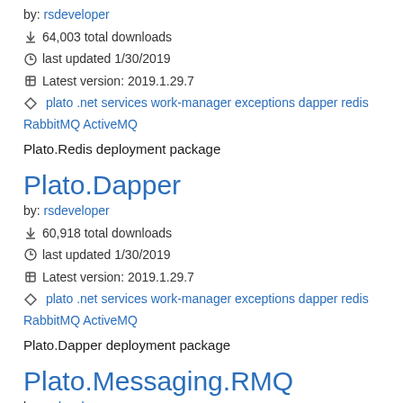by: rsdeveloper
64,003 total downloads
last updated 1/30/2019
Latest version: 2019.1.29.7
plato .net services work-manager exceptions dapper redis RabbitMQ ActiveMQ
Plato.Redis deployment package
Plato.Dapper
by: rsdeveloper
60,918 total downloads
last updated 1/30/2019
Latest version: 2019.1.29.7
plato .net services work-manager exceptions dapper redis RabbitMQ ActiveMQ
Plato.Dapper deployment package
Plato.Messaging.RMQ
by: rsdeveloper